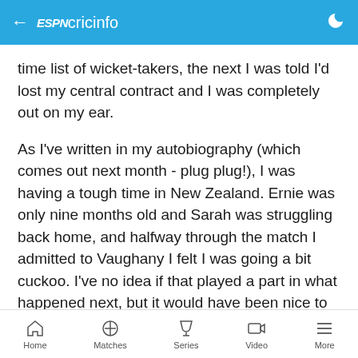ESPN cricinfo
time list of wicket-takers, the next I was told I'd lost my central contract and I was completely out on my ear.
As I've written in my autobiography (which comes out next month - plug plug!), I was having a tough time in New Zealand. Ernie was only nine months old and Sarah was struggling back home, and halfway through the match I admitted to Vaughany I felt I was going a bit cuckoo. I've no idea if that played a part in what happened next, but it would have been nice to have a bit of communication from up top.
Home   Matches   Series   Video   More